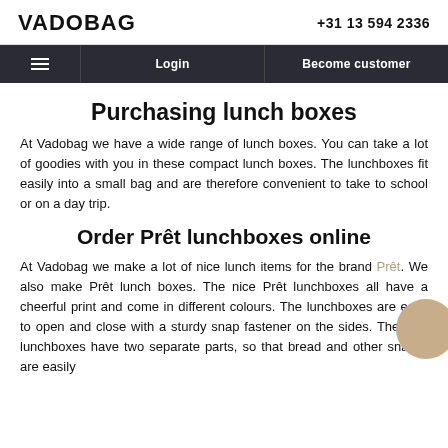VADOBAG | +31 13 594 2336
Login | Become customer
Purchasing lunch boxes
At Vadobag we have a wide range of lunch boxes. You can take a lot of goodies with you in these compact lunch boxes. The lunchboxes fit easily into a small bag and are therefore convenient to take to school or on a day trip.
Order Prêt lunchboxes online
At Vadobag we make a lot of nice lunch items for the brand Prêt. We also make Prêt lunch boxes. The nice Prêt lunchboxes all have a cheerful print and come in different colours. The lunchboxes are easy to open and close with a sturdy snap fastener on the sides. The Prêt lunchboxes have two separate parts, so that bread and other snacks are easily